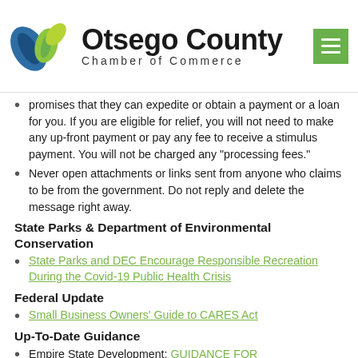[Figure (logo): Otsego County Chamber of Commerce logo with blue and green leaf icons]
promises that they can expedite or obtain a payment or a loan for you. If you are eligible for relief, you will not need to make any up-front payment or pay any fee to receive a stimulus payment. You will not be charged any "processing fees."
Never open attachments or links sent from anyone who claims to be from the government. Do not reply and delete the message right away.
State Parks & Department of Environmental Conservation
State Parks and DEC Encourage Responsible Recreation During the Covid-19 Public Health Crisis
Federal Update
Small Business Owners' Guide to CARES Act
Up-To-Date Guidance
Empire State Development: GUIDANCE FOR